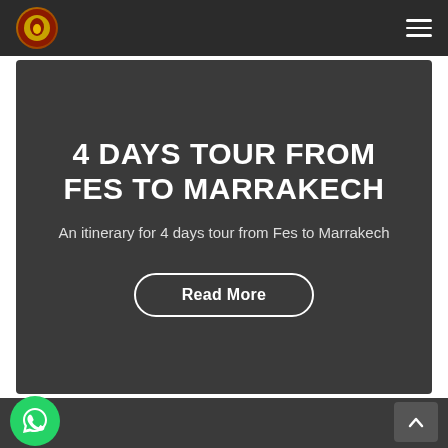Navigation header with logo and hamburger menu
4 DAYS TOUR FROM FES TO MARRAKECH
An itinerary for 4 days tour from Fes to Marrakech
Read More
[Figure (logo): WhatsApp icon green circle button]
[Figure (other): Up arrow scroll-to-top button]